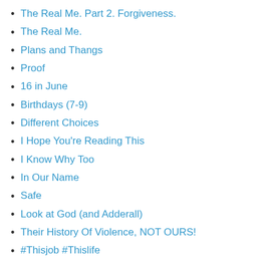The Real Me. Part 2. Forgiveness.
The Real Me.
Plans and Thangs
Proof
16 in June
Birthdays (7-9)
Different Choices
I Hope You're Reading This
I Know Why Too
In Our Name
Safe
Look at God (and Adderall)
Their History Of Violence, NOT OURS!
#Thisjob #Thislife